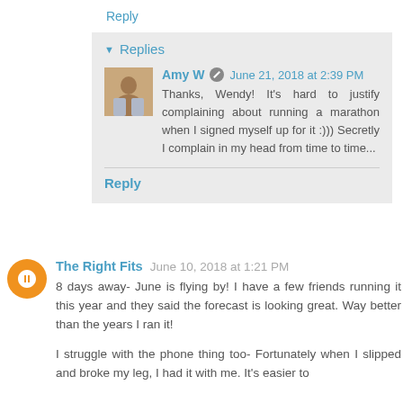Reply
▼ Replies
Amy W  June 21, 2018 at 2:39 PM
Thanks, Wendy! It's hard to justify complaining about running a marathon when I signed myself up for it :))) Secretly I complain in my head from time to time...
Reply
The Right Fits  June 10, 2018 at 1:21 PM
8 days away- June is flying by! I have a few friends running it this year and they said the forecast is looking great. Way better than the years I ran it!

I struggle with the phone thing too- Fortunately when I slipped and broke my leg, I had it with me. It's easier to